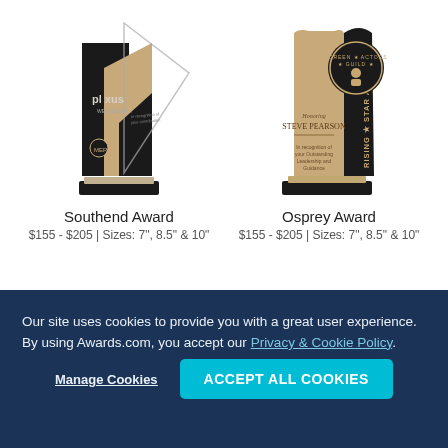[Figure (photo): Southend Award trophy — black and wood/marble composite award with Plexus and Merck logos, sitting on a black base. A triangular glass overlay is visible.]
Southend Award
$155 - $205 | Sizes: 7", 8.5" & 10"
[Figure (photo): Osprey Award trophy — black and tan/wood composite award with Screen Actors Guild Rising Star Award emblem, honoring Steve Pearson, sitting on a black base.]
Osprey Award
$155 - $205 | Sizes: 7", 8.5" & 10"
Our site uses cookies to provide you with a great user experience. By using Awards.com, you accept our Privacy & Cookie Policy.
Manage Cookies
ACCEPT ALL COOKIES